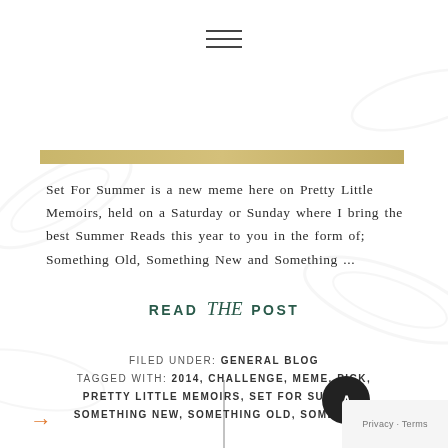[Figure (other): Hamburger/menu icon (three horizontal lines) centered at top]
[Figure (other): Decorative horizontal tan/beige bar across the page]
Set For Summer is a new meme here on Pretty Little Memoirs, held on a Saturday or Sunday where I bring the best Summer Reads this year to you in the form of; Something Old, Something New and Something ...
[Figure (other): Vertical thin dividing line centered on page]
READ THE POST
FILED UNDER: GENERAL BLOG
TAGGED WITH: 2014, CHALLENGE, MEME, PICK, PRETTY LITTLE MEMOIRS, SET FOR SUMMER, SOMETHING NEW, SOMETHING OLD, SOMETHING